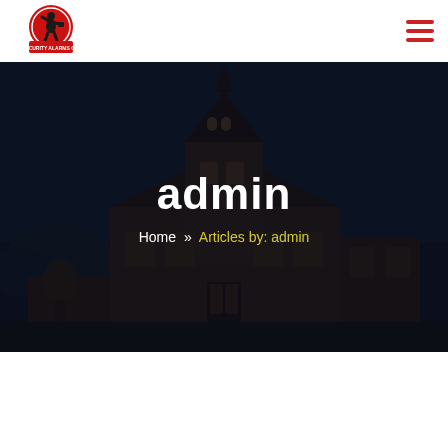[Figure (logo): Security Alarms Co. logo — red circle with black silhouette figure holding items, red banner with company name below]
Security Alarms Co. — navigation header with hamburger menu
[Figure (photo): Dark nighttime photo of a large brick house/mansion with a tower, overlaid with dark semi-transparent overlay. Shows admin author archive page hero banner.]
admin
Home » Articles by: admin